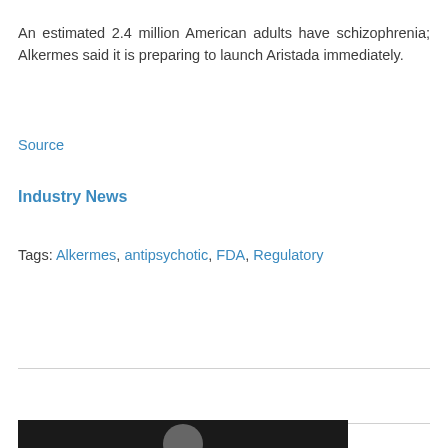An estimated 2.4 million American adults have schizophrenia; Alkermes said it is preparing to launch Aristada immediately.
Source
Industry News
Tags: Alkermes, antipsychotic, FDA, Regulatory